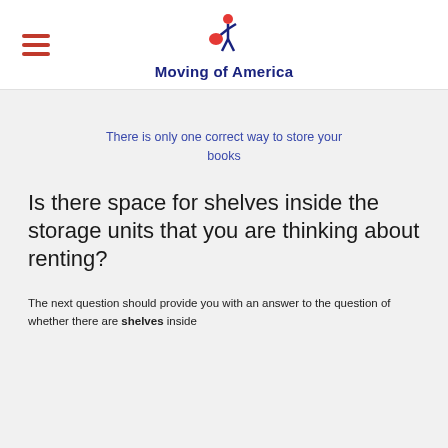Moving of America
There is only one correct way to store your books
Is there space for shelves inside the storage units that you are thinking about renting?
The next question should provide you with an answer to the question of whether there are shelves inside